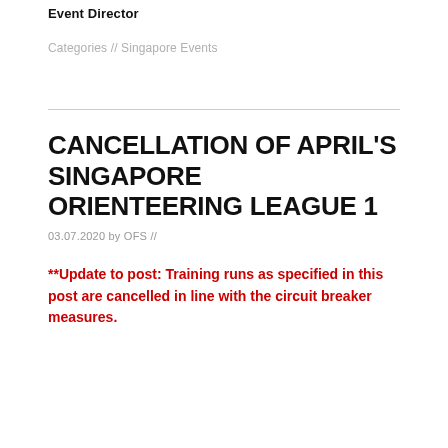Event Director
Categories // Singapore Events
CANCELLATION OF APRIL'S SINGAPORE ORIENTEERING LEAGUE 1
03.07.2020 by OFS //
**Update to post: Training runs as specified in this post are cancelled in line with the circuit breaker measures.